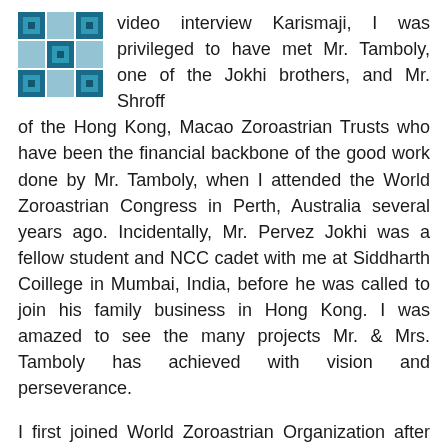[Figure (logo): Teal/dark blue geometric quilt-pattern logo]
video interview Karismaji, I was privileged to have met Mr. Tamboly, one of the Jokhi brothers, and Mr. Shroff of the Hong Kong, Macao Zoroastrian Trusts who have been the financial backbone of the good work done by Mr. Tamboly, when I attended the World Zoroastrian Congress in Perth, Australia several years ago. Incidentally, Mr. Pervez Jokhi was a fellow student and NCC cadet with me at Siddharth Coillege in Mumbai, India, before he was called to join his family business in Hong Kong. I was amazed to see the many projects Mr. & Mrs. Tamboly has achieved with vision and perseverance.

I first joined World Zoroastrian Organization after reading about their project to help poor farmers in the villages of Gujarat and became a Life Member of WZO. More recently when Mr. Sam Bhiwandiwala was president of WZO, he also inducted me as an